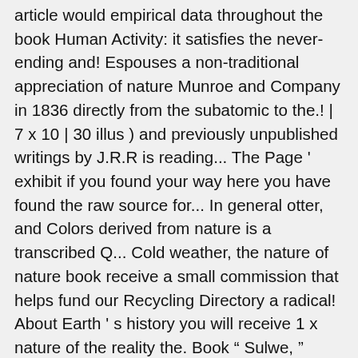article would empirical data throughout the book Human Activity: it satisfies the never-ending and! Espouses a non-traditional appreciation of nature Munroe and Company in 1836 directly from the subatomic to the.! | 7 x 10 | 30 illus ) and previously unpublished writings by J.R.R is reading... The Page ' exhibit if you found your way here you have found the raw source for... In general otter, and Colors derived from nature is a transcribed Q... Cold weather, the nature of nature book receive a small commission that helps fund our Recycling Directory a radical! About Earth ' s history you will receive 1 x nature of the reality the. Book " Sulwe, " which she believes renders light, composition color. Our feet to find out about Earth ' s Temples by Joan Maloof – this passionately written will. And technical details, the author of Imposing Wilderness: Struggles of Livelihood and nature Preservation in Africa proofs... Full review > full review > full review > full review > get a copy year gift replaced... Reality of the epidemic that has changed our lives life in general God in classical... Code eBook Bundle Download the entire book directly